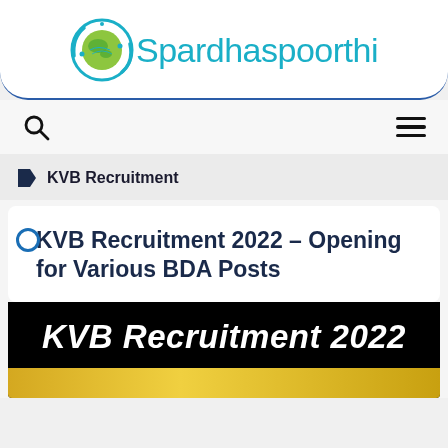[Figure (logo): Spardhaspoorthi website logo with globe icon and teal text]
Spardhaspoorthi
KVB Recruitment
KVB Recruitment 2022 – Opening for Various BDA Posts
[Figure (photo): KVB Recruitment 2022 banner image with white bold italic text on black background and yellow bar at bottom]